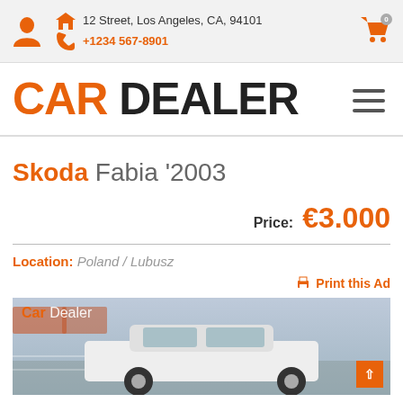12 Street, Los Angeles, CA, 94101 | +1234 567-8901
CAR DEALER
Skoda Fabia '2003
Price: €3.000
Location: Poland / Lubusz
Print this Ad
[Figure (photo): White Skoda Fabia car in motion, blurred background, Car Dealer watermark overlay]